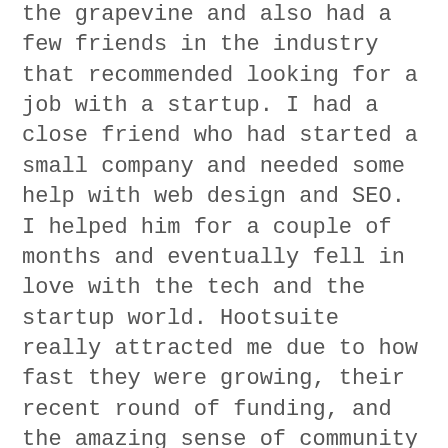the grapevine and also had a few friends in the industry that recommended looking for a job with a startup. I had a close friend who had started a small company and needed some help with web design and SEO. I helped him for a couple of months and eventually fell in love with the tech and the startup world. Hootsuite really attracted me due to how fast they were growing, their recent round of funding, and the amazing sense of community that was evident in their culture. I applied, and the rest is history. BC Tech: How were you were first introduced to the tech industry? Colton: I was first introduced to the Tech industry through a friend who had started his own business. He asked me to come and help produce a few videos for his company along with some design and SEO work. Working from home and in co-working spaces, all while being challenged to learn on the fly excited me